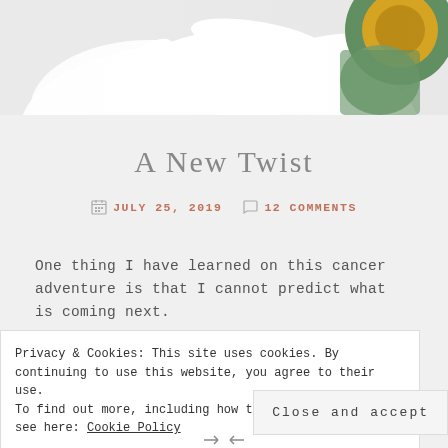[Figure (photo): Header photo showing white daisy petals and a yellow sunflower center against a light background]
A New Twist
JULY 25, 2019   12 COMMENTS
One thing I have learned on this cancer adventure is that I cannot predict what is coming next.
I have been repeatedly surprised in good ways, such as when I would experience a dramatic shift from ick to
Privacy & Cookies: This site uses cookies. By continuing to use this website, you agree to their use.
To find out more, including how to control cookies, see here: Cookie Policy
Close and accept